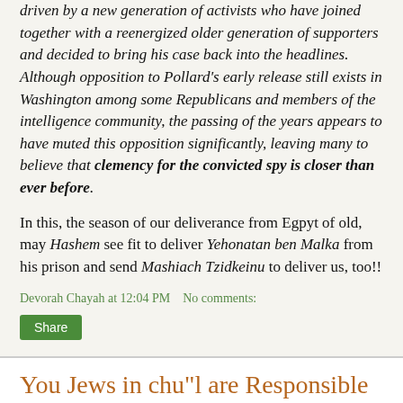driven by a new generation of activists who have joined together with a reenergized older generation of supporters and decided to bring his case back into the headlines. Although opposition to Pollard's early release still exists in Washington among some Republicans and members of the intelligence community, the passing of the years appears to have muted this opposition significantly, leaving many to believe that clemency for the convicted spy is closer than ever before.
In this, the season of our deliverance from Egpyt of old, may Hashem see fit to deliver Yehonatan ben Malka from his prison and send Mashiach Tzidkeinu to deliver us, too!!
Devorah Chayah at 12:04 PM   No comments:
Share
You Jews in chu"l are Responsible
[Figure (photo): Thumbnail image partially visible at bottom, appears to be a landscape or nature photo with blue-green tones]